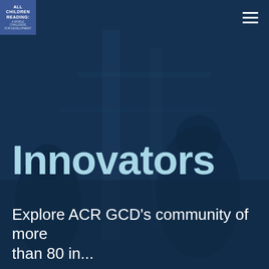[Figure (photo): Dark navy background showing blurred silhouettes of people in an indoor setting, used as a hero/banner background image]
ALL CHILDREN READING: A WORLD CHALLENGE FOR DEVELOPMENT
Innovators
Explore ACR GCD's community of more than 80 innovators to learn more about...